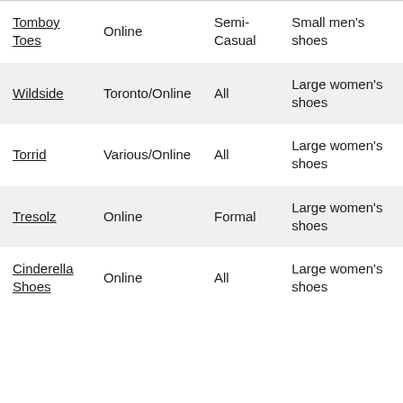| Tomboy Toes | Online | Semi-Casual | Small men's shoes |
| Wildside | Toronto/Online | All | Large women's shoes |
| Torrid | Various/Online | All | Large women's shoes |
| Tresolz | Online | Formal | Large women's shoes |
| Cinderella Shoes | Online | All | Large women's shoes |